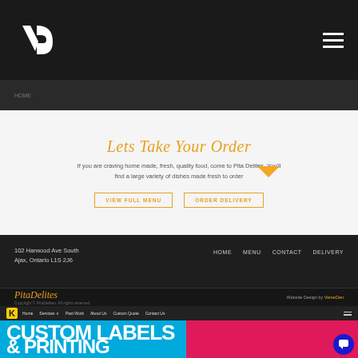[Figure (screenshot): Dark navigation bar with VD logo on left and hamburger menu on right]
[Figure (screenshot): Dark hero section with orange downward arrow]
Lets Take Your Order
If you are craving home made, fresh, quality food, come to Pita Delites. You'll find a large variety of dishes made fresh to order
VIEW FULL MENU    ORDER DELIVERY
[Figure (screenshot): Dark footer with address 102 Harwood Ave South, Ajax, Ontario L1S 2J6 and navigation links HOME MENU CONTACT DELIVERY, plus PitaDelites logo and Website Design by VerseDen credit]
[Figure (screenshot): Bottom section showing K logo navigation bar and large CUSTOM LABELS & PRINTING hero text on blue and pink background]